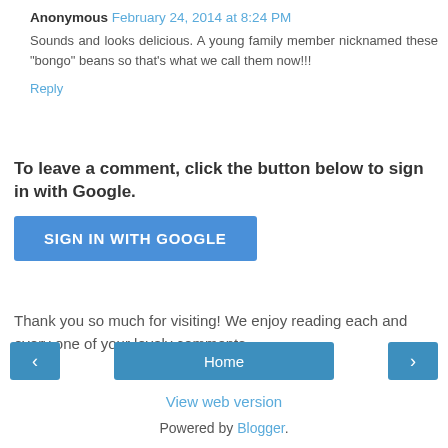Anonymous February 24, 2014 at 8:24 PM
Sounds and looks delicious. A young family member nicknamed these "bongo" beans so that's what we call them now!!!
Reply
To leave a comment, click the button below to sign in with Google.
[Figure (other): Blue button labeled SIGN IN WITH GOOGLE]
Thank you so much for visiting! We enjoy reading each and every one of your lovely comments.
[Figure (other): Navigation bar with left arrow, Home button, and right arrow]
View web version
Powered by Blogger.